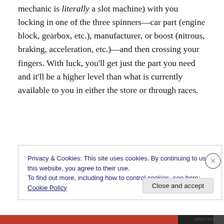mechanic is literally a slot machine) with you locking in one of the three spinners—car part (engine block, gearbox, etc.), manufacturer, or boost (nitrous, braking, acceleration, etc.)—and then crossing your fingers. With luck, you'll get just the part you need and it'll be a higher level than what is currently available to you in either the store or through races.
Privacy & Cookies: This site uses cookies. By continuing to use this website, you agree to their use.
To find out more, including how to control cookies, see here: Cookie Policy